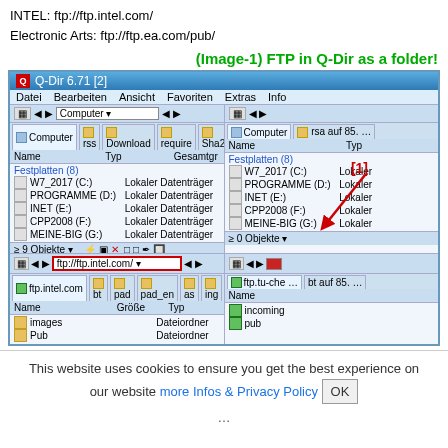INTEL: ftp://ftp.intel.com/
Electronic Arts: ftp://ftp.ea.com/pub/
(Image-1) FTP in Q-Dir as a folder!
[Figure (screenshot): Q-Dir 6.71 file manager window showing FTP connection to ftp://ftp.intel.com/ in one pane, with annotation [1] and red arrow pointing to the FTP address bar. Shows folder panes with local drives and FTP folders (images, Pub).]
This website uses cookies to ensure you get the best experience on our website more Infos & Privacy Policy OK